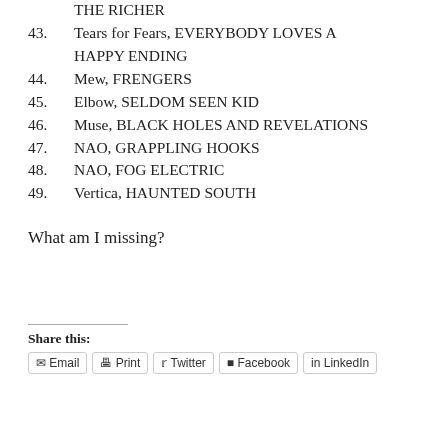THE RICHER (continuation from previous page)
43. Tears for Fears, EVERYBODY LOVES A HAPPY ENDING
44. Mew, FRENGERS
45. Elbow, SELDOM SEEN KID
46. Muse, BLACK HOLES AND REVELATIONS
47. NAO, GRAPPLING HOOKS
48. NAO, FOG ELECTRIC
49. Vertica, HAUNTED SOUTH
What am I missing?
Share this:
Email  Print  Twitter  Facebook  LinkedIn